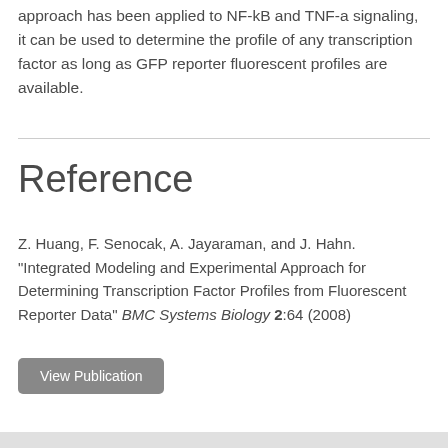approach has been applied to NF-kB and TNF-a signaling, it can be used to determine the profile of any transcription factor as long as GFP reporter fluorescent profiles are available.
Reference
Z. Huang, F. Senocak, A. Jayaraman, and J. Hahn. "Integrated Modeling and Experimental Approach for Determining Transcription Factor Profiles from Fluorescent Reporter Data" BMC Systems Biology 2:64 (2008)
View Publication